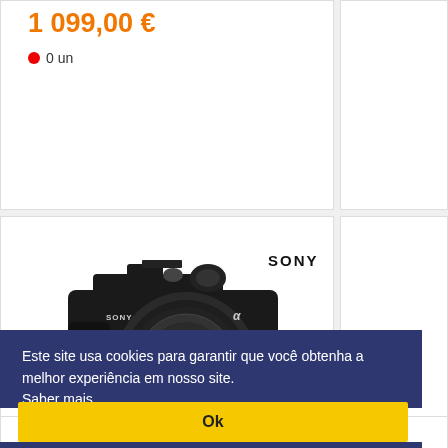1 099,00 €
● 0 un
[Figure (photo): Sony mirrorless camera with lens, black body, viewed from front-left angle. Sony logo and alpha symbol visible on camera body.]
SONY
SONY A
SONY
Este site usa cookies para garantir que você obtenha a melhor experiência em nosso site. Saber mais
Ok